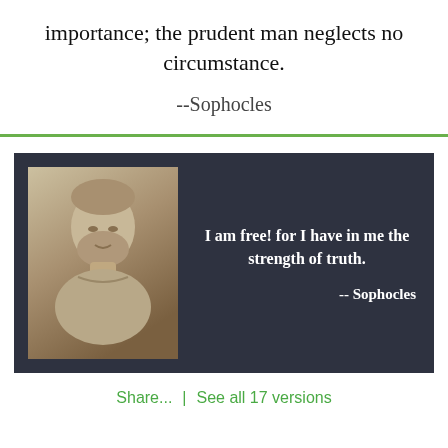importance; the prudent man neglects no circumstance.
--Sophocles
[Figure (infographic): Dark card with marble bust photo of Sophocles on left and quote text on right: 'I am free! for I have in me the strength of truth. -- Sophocles']
Share...  |  See all 17 versions